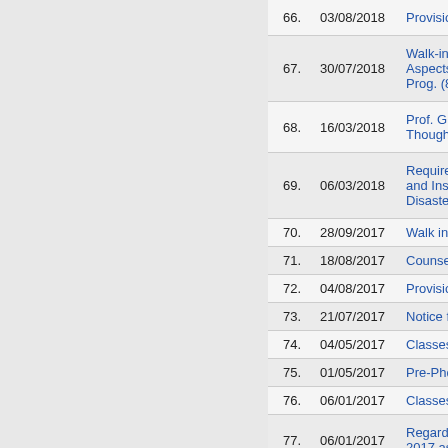| No. | Date | Title |
| --- | --- | --- |
| 66. | 03/08/2018 | Provisional... |
| 67. | 30/07/2018 | Walk-in-inte... Aspects of D... Prog. (8.8.2... |
| 68. | 16/03/2018 | Prof. Gurde... Thought bei... |
| 69. | 06/03/2018 | Requiremen... and Insuran... Disaster Ma... |
| 70. | 28/09/2017 | Walk in Inte... |
| 71. | 18/08/2017 | Counselling... |
| 72. | 04/08/2017 | Provisional l... |
| 73. | 21/07/2017 | Notice for re... |
| 74. | 04/05/2017 | Classes of 3... |
| 75. | 01/05/2017 | Pre-Phd Co... |
| 76. | 06/01/2017 | Classes will... |
| 77. | 06/01/2017 | Regarding c... 2017 as per... |
| 78. | 24/11/2016 | Panel Discu... |
| 79. | 19/08/2016 | Final call for... |